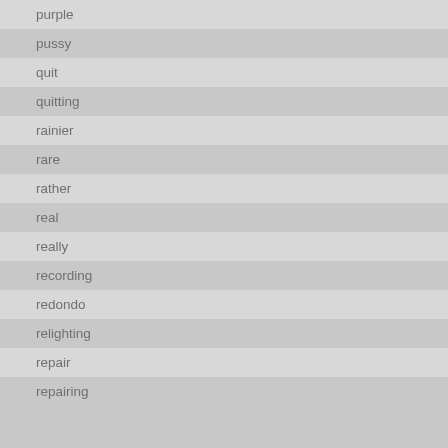purple
pussy
quit
quitting
rainier
rare
rather
real
really
recording
redondo
relighting
repair
repairing